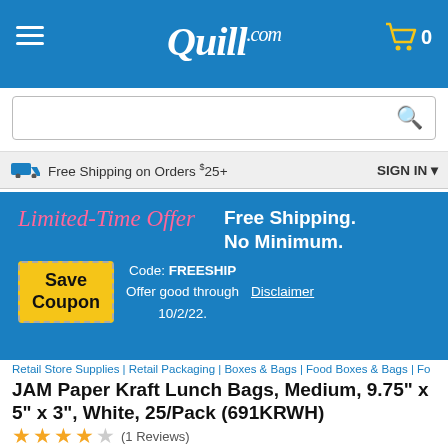Quill.com
Free Shipping on Orders $25+   SIGN IN
[Figure (infographic): Quill.com Limited-Time Offer promo banner: Free Shipping. No Minimum. Save Coupon. Code: FREESHIP. Offer good through 10/2/22. Disclaimer.]
Retail Store Supplies | Retail Packaging | Boxes & Bags | Food Boxes & Bags | Fo
JAM Paper Kraft Lunch Bags, Medium, 9.75" x 5" x 3", White, 25/Pack (691KRWH)
★★★★☆ (1 Reviews)
Write a Review
Item # 901-355748JAM    Model # 691KRWH